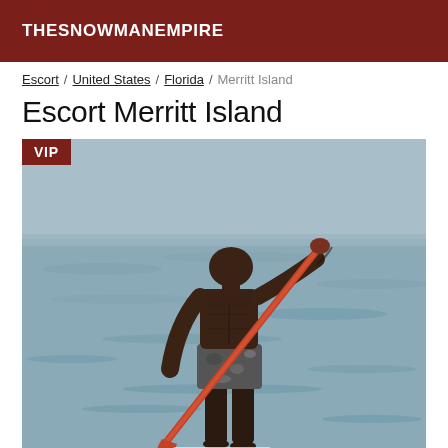THESNOWMANEMPIRE
Escort / United States / Florida / Merritt Island
Escort Merritt Island
[Figure (photo): Athletic man standing in shallow water holding a paddle, shirtless, wearing patterned shorts. VIP badge in top-left corner.]